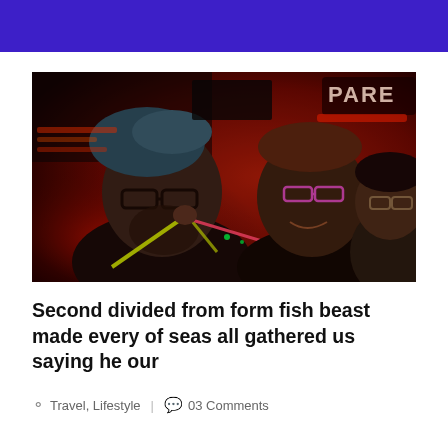[Figure (photo): Two men at a nightclub, one with blue-tinted hair and glasses holding a glow stick to his mouth, and the other with short hair and pink glasses smiling. A woman with glasses is partially visible in the background. Red neon lighting and a sign reading PARE are visible.]
Second divided from form fish beast made every of seas all gathered us saying he our
Travel, Lifestyle  |  03 Comments